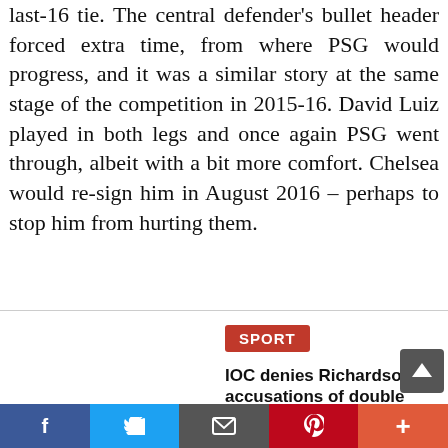last-16 tie. The central defender's bullet header forced extra time, from where PSG would progress, and it was a similar story at the same stage of the competition in 2015-16. David Luiz played in both legs and once again PSG went through, albeit with a bit more comfort. Chelsea would re-sign him in August 2016 – perhaps to stop him from hurting them.
SPORT
IOC denies Richardson's accusations of double standards over Valieva
[Figure (photo): Figure skater in purple outfit, The Guardian watermark in bottom right]
US sprinter missed Olympics after positive cannabis testIOC: 'There is nothing in common between these two cases'The International Olympic Committee has dismissed claims that a